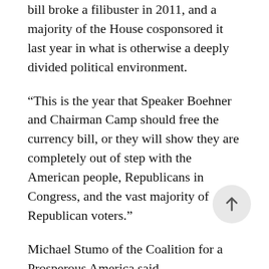bill broke a filibuster in 2011, and a majority of the House cosponsored it last year in what is otherwise a deeply divided political environment.
“This is the year that Speaker Boehner and Chairman Camp should free the currency bill, or they will show they are completely out of step with the American people, Republicans in Congress, and the vast majority of Republican voters.”
Michael Stumo of the Coalition for a Prosperous America said,
“Our members place a high priority on neutralizing the trade impact of foreign currency manipulation,” said Michael Stumo, CEO of CPA. “This problem is not going away. An enforcement remedy is needed, not more talk. U.S. manufacturers, farmers, ranchers and workers face a currency tariff in many world markets. They also face predatory priced imports from companies in other countries benefitting